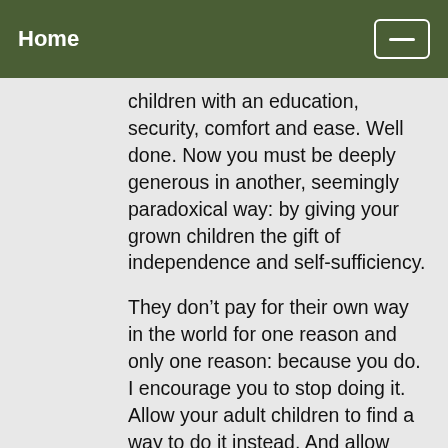Home
children with an education, security, comfort and ease. Well done. Now you must be deeply generous in another, seemingly paradoxical way: by giving your grown children the gift of independence and self-sufficiency.
They don't pay for their own way in the world for one reason and only one reason: because you do. I encourage you to stop doing it. Allow your adult children to find a way to do it instead. And allow them to struggle with doing it.
By providing all that you provide your kids at this point in their lives, you're preventing them from learning how to problem solve, sacrifice, persevere, and suffer and benefit from the